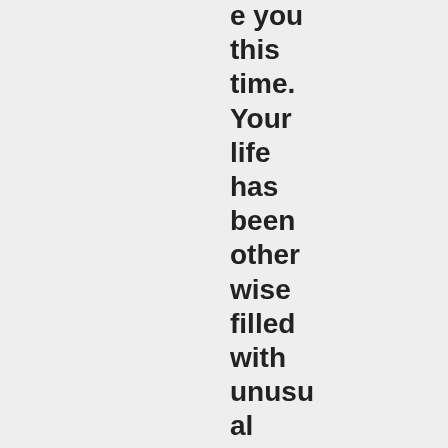e you this time. Your life has been otherwise filled with unusual drama lately 🙂